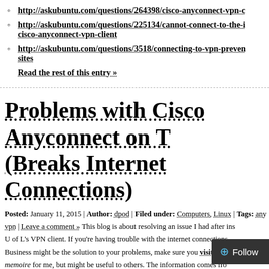http://askubuntu.com/questions/264398/cisco-anyconnect-vpn-c...
http://askubuntu.com/questions/225134/cannot-connect-to-the-internet-after-using-cisco-anyconnect-vpn-client
http://askubuntu.com/questions/3518/connecting-to-vpn-prevents-access-to-local-network-and-other-sites
Read the rest of this entry »
Problems with Cisco Anyconnect on T... (Breaks Internet Connections)
Posted: January 11, 2015 | Author: dpod | Filed under: Computers, Linux | Tags: anyconnect, vpn | Leave a comment » This blog is about resolving an issue I had after installing U of L's VPN client. If you're having trouble with the internet connections... Business might be the solution to your problems, make sure you visit we... memoire for me, but might be useful to others. The information comes fro... useful for this particular case:
http://askubuntu.com/questions/264398/cisco-...v